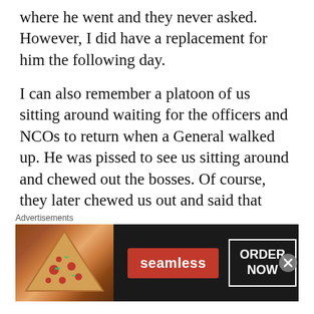where he went and they never asked. However, I did have a replacement for him the following day.
I can also remember a platoon of us sitting around waiting for the officers and NCOs to return when a General walked up. He was pissed to see us sitting around and chewed out the bosses. Of course, they later chewed us out and said that someone should have taken charge, but we all knew they were to blame. They went off and not one of them thought about the unit. Someone should have been with us, or at least given an order in
Advertisements
[Figure (other): Seamless food delivery advertisement banner showing pizza image on left, red Seamless logo in center, and ORDER NOW button on right]